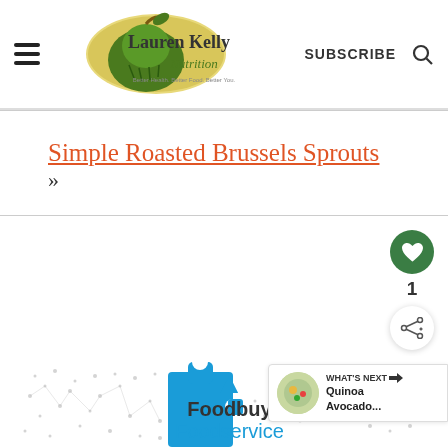Lauren Kelly Nutrition - Better Health. Better Food. Better You. | SUBSCRIBE
Simple Roasted Brussels Sprouts »
[Figure (screenshot): Heart/like button (green circle with white heart icon), count '1', and share button below it on the right side of the page]
[Figure (infographic): Foodbuy Foodservice advertisement with dotted map pattern and blue puzzle piece with food image. WHAT'S NEXT arrow label with 'Quinoa Avocado...' text]
[Figure (screenshot): Bottom bar showing geometric hexagon pattern on grey background with WW logo on right side]